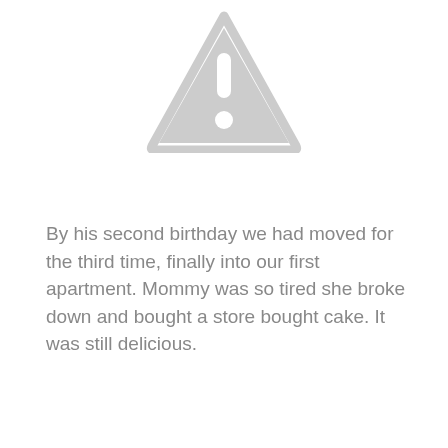[Figure (illustration): A grey placeholder image-missing warning icon: a triangle with rounded corners containing an exclamation mark (!) above a circle, all in light grey.]
By his second birthday we had moved for the third time, finally into our first apartment. Mommy was so tired she broke down and bought a store bought cake. It was still delicious.